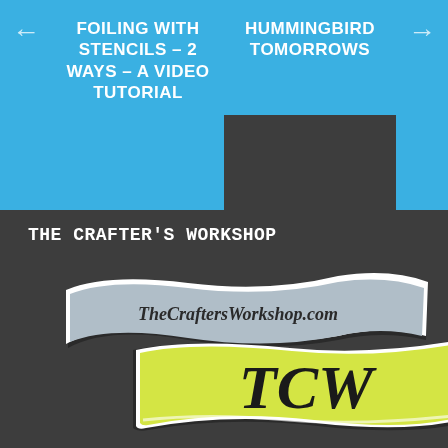← FOILING WITH STENCILS – 2 WAYS – A VIDEO TUTORIAL
HUMMINGBIRD TOMORROWS →
THE CRAFTER'S WORKSHOP
[Figure (logo): The Crafter's Workshop logo with two ribbon banners — a light blue/grey banner reading 'TheCraftersWorkshop.com' and a yellow-green banner with bold black letters 'TCW', on a dark grey background]